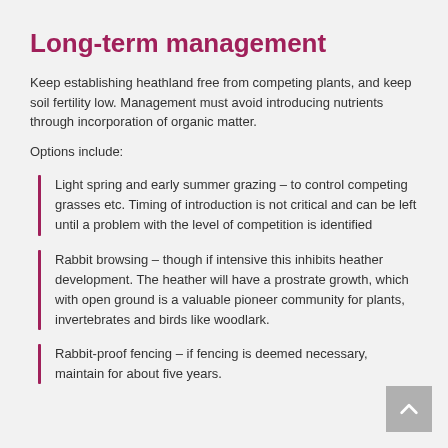Long-term management
Keep establishing heathland free from competing plants, and keep soil fertility low. Management must avoid introducing nutrients through incorporation of organic matter.
Options include:
Light spring and early summer grazing – to control competing grasses etc. Timing of introduction is not critical and can be left until a problem with the level of competition is identified
Rabbit browsing – though if intensive this inhibits heather development. The heather will have a prostrate growth, which with open ground is a valuable pioneer community for plants, invertebrates and birds like woodlark.
Rabbit-proof fencing – if fencing is deemed necessary, maintain for about five years.